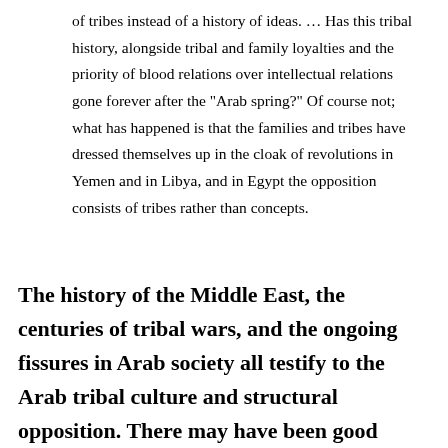of tribes instead of a history of ideas. … Has this tribal history, alongside tribal and family loyalties and the priority of blood relations over intellectual relations gone forever after the "Arab spring?" Of course not; what has happened is that the families and tribes have dressed themselves up in the cloak of revolutions in Yemen and in Libya, and in Egypt the opposition consists of tribes rather than concepts.
The history of the Middle East, the centuries of tribal wars, and the ongoing fissures in Arab society all testify to the Arab tribal culture and structural opposition. There may have been good reasons to stick with tribal culture and